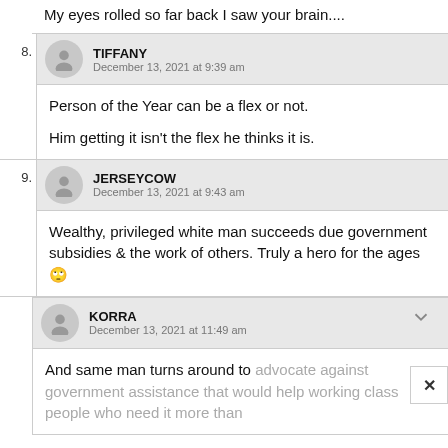My eyes rolled so far back I saw your brain....
8. TIFFANY
December 13, 2021 at 9:39 am
Person of the Year can be a flex or not.

Him getting it isn't the flex he thinks it is.
9. JERSEYCOW
December 13, 2021 at 9:43 am
Wealthy, privileged white man succeeds due government subsidies & the work of others. Truly a hero for the ages 🙄
KORRA
December 13, 2021 at 11:49 am
And same man turns around to advocate against government assistance that would help working class people who need it more than